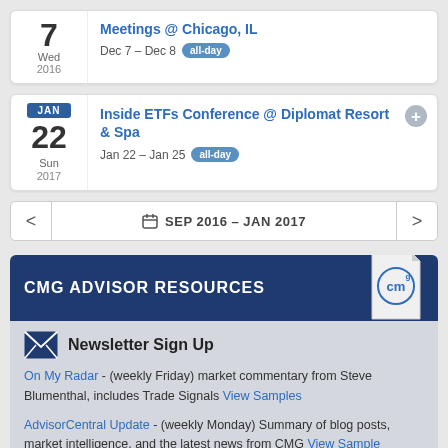[Figure (infographic): Calendar event card partially visible at top: Day 7, Wed, 2016. Event: Meetings @ Chicago, IL. Date: Dec 7 – Dec 8, all-day.]
[Figure (infographic): Calendar event card: JAN 22, Sun, 2017. Event: Inside ETFs Conference @ Diplomat Resort & Spa. Date: Jan 22 – Jan 25, all-day. Plus button in top right.]
[Figure (infographic): Navigation bar showing SEP 2016 – JAN 2017 with left and right arrows and a calendar icon.]
CMG ADVISOR RESOURCES
Newsletter Sign Up
On My Radar - (weekly Friday) market commentary from Steve Blumenthal, includes Trade Signals View Samples
AdvisorCentral Update - (weekly Monday) Summary of blog posts, market intelligence, and the latest news from CMG View Sample